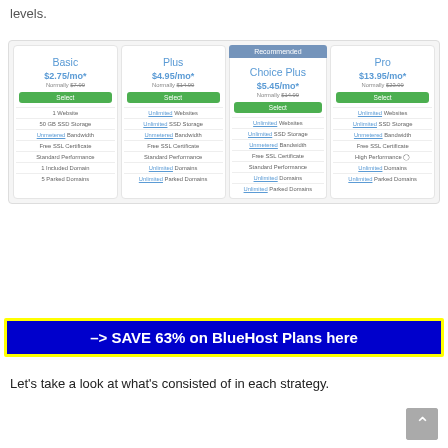levels.
| Basic | Plus | Choice Plus | Pro |
| --- | --- | --- | --- |
| $2.75/mo* | $4.95/mo* | $5.45/mo* | $13.95/mo* |
| Normally $7.99 | Normally $14.99 | Normally $14.99 | Normally $23.99 |
| Select | Select | Select | Select |
| 1 Website | Unlimited Websites | Unlimited Websites | Unlimited Websites |
| 50 GB SSD Storage | Unlimited SSD Storage | Unlimited SSD Storage | Unlimited SSD Storage |
| Unmetered Bandwidth | Unmetered Bandwidth | Unmetered Bandwidth | Unmetered Bandwidth |
| Free SSL Certificate | Free SSL Certificate | Free SSL Certificate | Free SSL Certificate |
| Standard Performance | Standard Performance | Standard Performance | High Performance |
| 1 Included Domain | Unlimited Domains | Unlimited Domains | Unlimited Domains |
| 5 Parked Domains | Unlimited Parked Domains | Unlimited Parked Domains | Unlimited Parked Domains |
[Figure (other): CTA banner: -> SAVE 63% on BlueHost Plans here, blue background with yellow border]
Let's take a look at what's consisted of in each strategy.
[Figure (other): Scroll-to-top button, gray rounded square with up arrow]